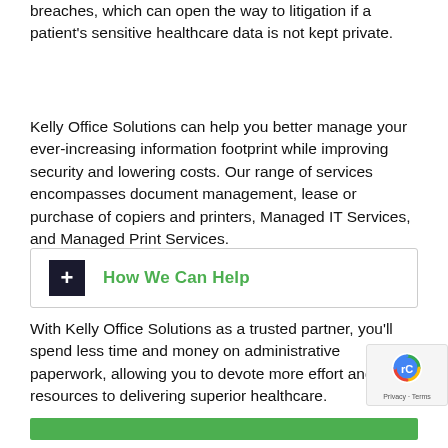breaches, which can open the way to litigation if a patient's sensitive healthcare data is not kept private.
Kelly Office Solutions can help you better manage your ever-increasing information footprint while improving security and lowering costs. Our range of services encompasses document management, lease or purchase of copiers and printers, Managed IT Services, and Managed Print Services.
+ How We Can Help
With Kelly Office Solutions as a trusted partner, you'll spend less time and money on administrative paperwork, allowing you to devote more effort and resources to delivering superior healthcare.
[Figure (other): Green call-to-action button bar at the bottom of the page]